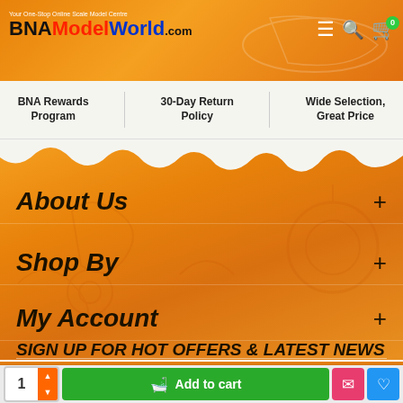[Figure (screenshot): BNAModelWorld.com website header with orange background, logo, hamburger menu, search icon, and cart icon with 0 badge]
BNA Rewards Program
30-Day Return Policy
Wide Selection, Great Price
About Us +
Shop By +
My Account +
SIGN UP FOR HOT OFFERS & LATEST NEWS
1  Add to cart